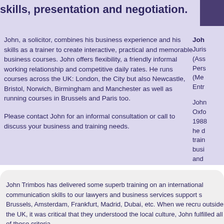skills, presentation and negotiation.
John, a solicitor, combines his business experience and his skills as a trainer to create interactive, practical and memorable business courses. John offers flexibility, a friendly informal working relationship and competitive daily rates. He runs courses across the UK: London, the City but also Newcastle, Bristol, Norwich, Birmingham and Manchester as well as running courses in Brussels and Paris too.
Please contact John for an informal consultation or call to discuss your business and training needs.
John
Juris
(Ass
Pers
(Me
Entr

John
Oxfo
1988
he d
train
busi
and
John Trimbos has delivered some superb training on an international communication skills to our lawyers and business services support s Brussels, Amsterdam, Frankfurt, Madrid, Dubai, etc. When we recru outside the UK, it was critical that they understood the local culture, John fulfilled all of these criteria.